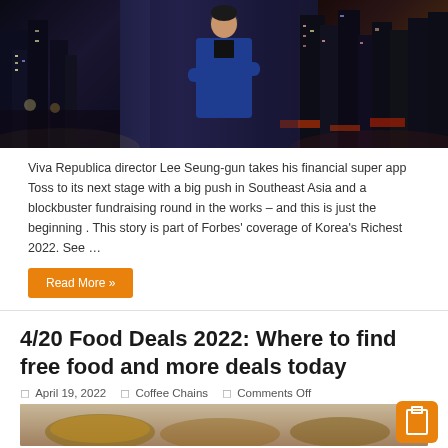[Figure (photo): Man in blue suit with arms crossed standing in front of a night city street background with lights and traffic]
Viva Republica director Lee Seung-gun takes his financial super app Toss to its next stage with a big push in Southeast Asia and a blockbuster fundraising round in the works – and this is just the beginning . This story is part of Forbes' coverage of Korea's Richest 2022. See …
Read More »
4/20 Food Deals 2022: Where to find free food and more deals today
April 19, 2022   Coffee Chains   Comments Off
[Figure (photo): Food image partially visible at the bottom of the page]